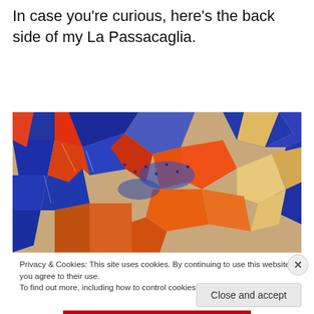In case you're curious, here's the back side of my La Passacaglia.
[Figure (photo): Close-up photograph of colorful fabric or ceramic tiles in orange, red, blue, and beige patchwork pattern — the back side of a La Passacaglia quilt or decorative piece.]
Privacy & Cookies: This site uses cookies. By continuing to use this website, you agree to their use.
To find out more, including how to control cookies, see here: Cookie Policy
Close and accept